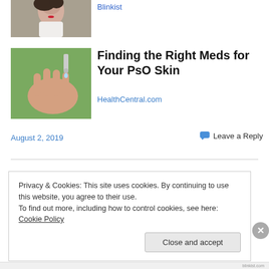[Figure (photo): Partial view of a woman's face with red lips and dark hair]
Blinkist
[Figure (photo): Hand held open with a small dropper bottle dispensing liquid onto the palm, outdoors with green background]
Finding the Right Meds for Your PsO Skin
HealthCentral.com
August 2, 2019
Leave a Reply
Privacy & Cookies: This site uses cookies. By continuing to use this website, you agree to their use.
To find out more, including how to control cookies, see here: Cookie Policy